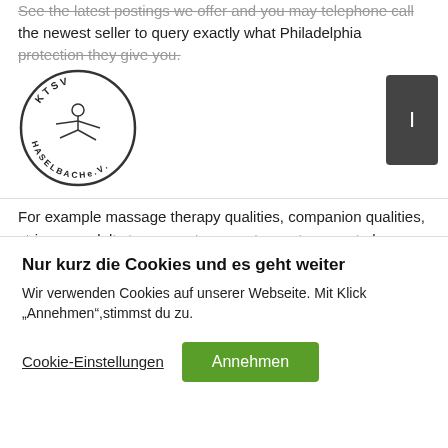See the latest postings we offer and you may telephone call the newest seller to query exactly what Philadelphia protection they give you.
[Figure (logo): KTSV Haselbach e.V. circular logo with a gymnast figure in the center]
For example massage therapy qualities, companion qualities, strippers, adult stores one to promote sex toys, part plans offering adult toys, etc. This is what we're these are when we refer so you're able to adult companies.
Since we are all into the exact same page and you will understand just what it are adults have to give, this can be a
Nur kurz die Cookies und es geht weiter
Wir verwenden Cookies auf unserer Webseite. Mit Klick "Annehmen",stimmst du zu.
Cookie-Einstellungen    Annehmen